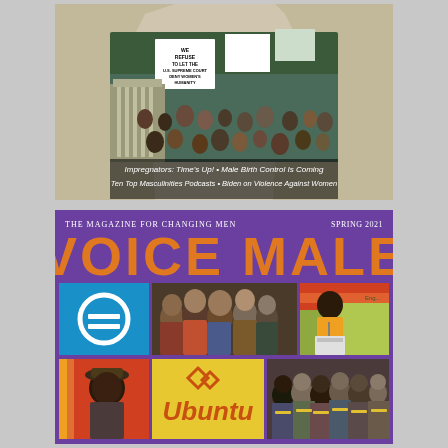[Figure (photo): Top magazine cover with protest crowd scene showing people holding signs including one reading 'WE REFUSE TO LET THE U.S. SUPREME COURT DENY WOMEN'S HUMANITY AND DECIMATE...' with overlaid text listing articles]
Impregnators: Time's Up! • Male Birth Control Is Coming
Ten Top Masculinities Podcasts • Biden on Violence Against Women
[Figure (photo): Voice Male magazine Spring 2021 cover on purple background featuring title VOICE MALE, with The Magazine for Changing Men tagline, and grid of photos showing equality sign, group of men, woman speaker at podium, man with hat, Ubuntu logo, and group of diverse men]
VOICE MALE
THE MAGAZINE FOR CHANGING MEN
SPRING 2021
Ubuntu